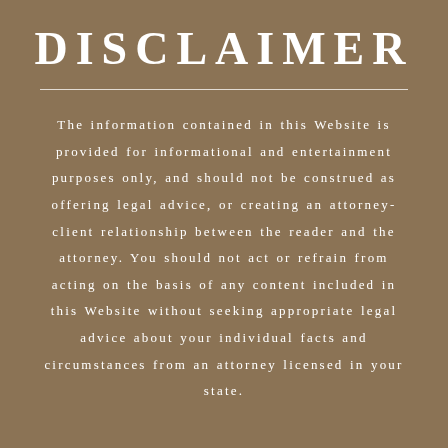DISCLAIMER
The information contained in this Website is provided for informational and entertainment purposes only, and should not be construed as offering legal advice, or creating an attorney-client relationship between the reader and the attorney. You should not act or refrain from acting on the basis of any content included in this Website without seeking appropriate legal advice about your individual facts and circumstances from an attorney licensed in your state.